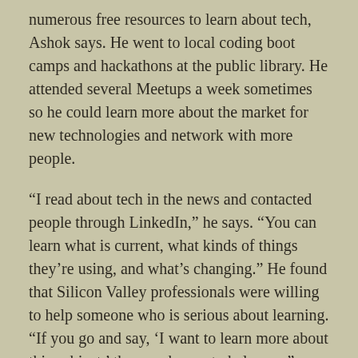numerous free resources to learn about tech, Ashok says. He went to local coding boot camps and hackathons at the public library. He attended several Meetups a week sometimes so he could learn more about the market for new technologies and network with more people.
“I read about tech in the news and contacted people through LinkedIn,” he says. “You can learn what is current, what kinds of things they’re using, and what’s changing.” He found that Silicon Valley professionals were willing to help someone who is serious about learning. “If you go and say, ‘I want to learn more about this subject,’ they are happy to help you.”
While still in the Extension program, he participated in about a half dozen interviews before landing his own use area. Senior of [truncated]